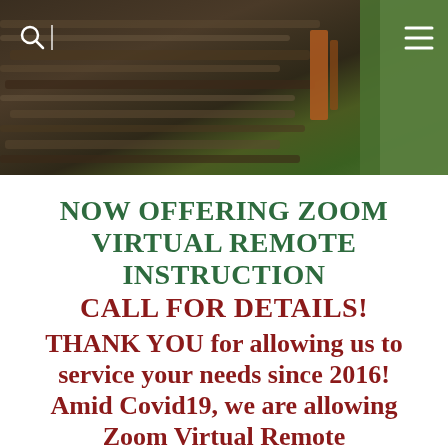[Figure (photo): Blurred motion photo of a horse racing, with dark brown tones on the left and vivid green on the right side. Navigation icons (search and hamburger menu) are overlaid in white at top left and right.]
NOW OFFERING ZOOM VIRTUAL REMOTE INSTRUCTION CALL FOR DETAILS!
THANK YOU for allowing us to service your needs since 2016! Amid Covid19, we are allowing Zoom Virtual Remote